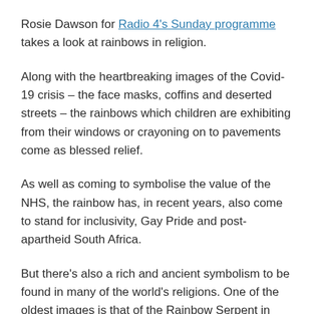Rosie Dawson for Radio 4's Sunday programme takes a look at rainbows in religion.
Along with the heartbreaking images of the Covid-19 crisis – the face masks, coffins and deserted streets – the rainbows which children are exhibiting from their windows or crayoning on to pavements come as blessed relief.
As well as coming to symbolise the value of the NHS, the rainbow has, in recent years, also come to stand for inclusivity, Gay Pride and post-apartheid South Africa.
But there's also a rich and ancient symbolism to be found in many of the world's religions. One of the oldest images is that of the Rainbow Serpent in Australian Aboriginal traditions.
The serpent is often seen as the creator, shaping the earth's mountains and valleys as it moves over the land. When seen in